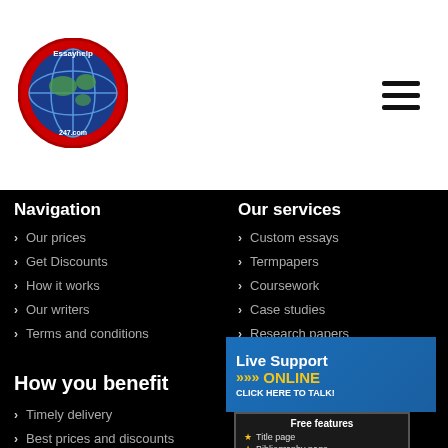[Figure (logo): EssayHelp247.com circular logo with globe on red background]
Navigation
Our services
Our prices
Custom essays
Get Discounts
Termpapers
How it works
Coursework
Our writers
Case studies
Terms and conditions
Research papers
How you benefit
Save b... essayh...
Timely delivery
Best prices and discounts
Custom written papers
[Figure (infographic): Live Support ONLINE CLICK HERE TO TALK! banner with woman photo]
[Figure (infographic): Free features box: Title page, Bibliography page, Order taking]